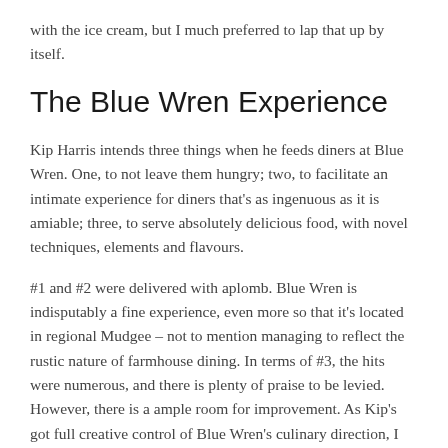with the ice cream, but I much preferred to lap that up by itself.
The Blue Wren Experience
Kip Harris intends three things when he feeds diners at Blue Wren. One, to not leave them hungry; two, to facilitate an intimate experience for diners that’s as ingenuous as it is amiable; three, to serve absolutely delicious food, with novel techniques, elements and flavours.
#1 and #2 were delivered with aplomb. Blue Wren is indisputably a fine experience, even more so that it’s located in regional Mudgee – not to mention managing to reflect the rustic nature of farmhouse dining. In terms of #3, the hits were numerous, and there is plenty of praise to be levied. However, there is a ample room for improvement. As Kip’s got full creative control of Blue Wren’s culinary direction, I fully